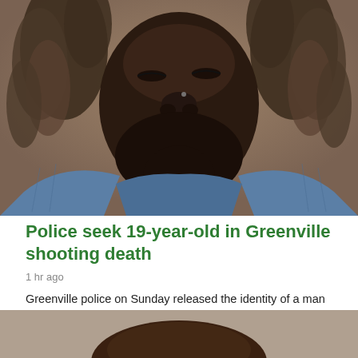[Figure (photo): Close-up photo of a young man with dreadlocks and a beard wearing a denim jacket, face tilted slightly upward, mugshot-style photo against a tan/brown background.]
Police seek 19-year-old in Greenville shooting death
1 hr ago
Greenville police on Sunday released the identity of a man shot to death last week in a car near the Medical District and said a 19-year-old is suspected in the death.
[Figure (photo): Partial photo at the bottom of the page showing the top of another person's head/forehead, appears to be another mugshot.]